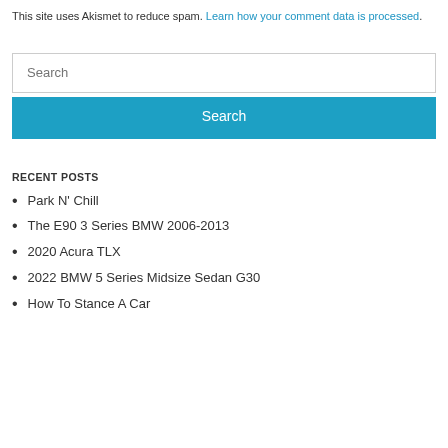This site uses Akismet to reduce spam. Learn how your comment data is processed.
Search
Search
RECENT POSTS
Park N' Chill
The E90 3 Series BMW 2006-2013
2020 Acura TLX
2022 BMW 5 Series Midsize Sedan G30
How To Stance A Car